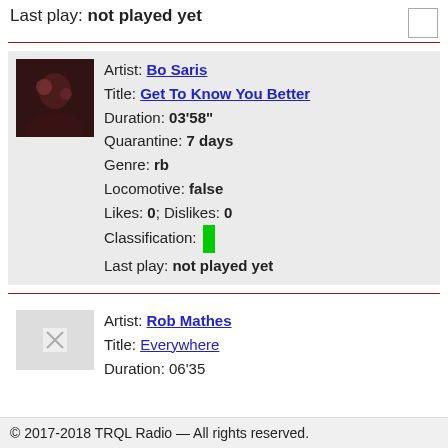Last play: not played yet
Artist: Bo Saris
Title: Get To Know You Better
Duration: 03'58"
Quarantine: 7 days
Genre: rb
Locomotive: false
Likes: 0; Dislikes: 0
Classification: [green bar]
Last play: not played yet
Artist: Rob Mathes
Title: Everywhere
Duration: 06'35
© 2017-2018 TRQL Radio — All rights reserved.